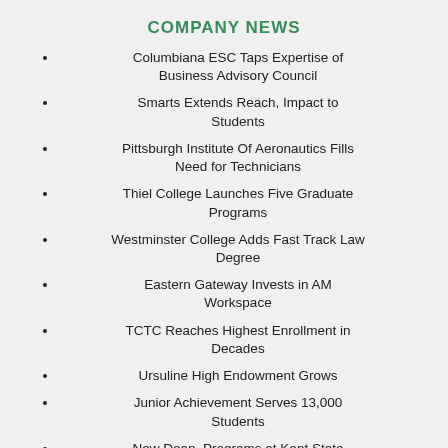COMPANY NEWS
Columbiana ESC Taps Expertise of Business Advisory Council
Smarts Extends Reach, Impact to Students
Pittsburgh Institute Of Aeronautics Fills Need for Technicians
Thiel College Launches Five Graduate Programs
Westminster College Adds Fast Track Law Degree
Eastern Gateway Invests in AM Workspace
TCTC Reaches Highest Enrollment in Decades
Ursuline High Endowment Grows
Junior Achievement Serves 13,000 Students
New Dean, Programs at Kent State Trumbull